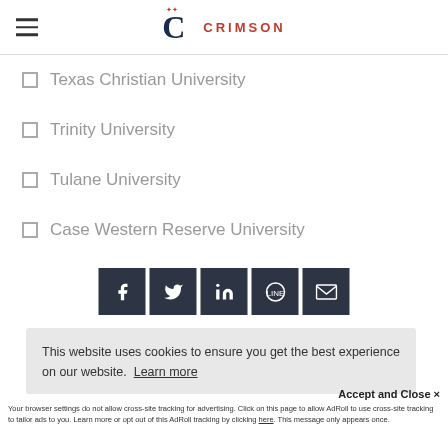Crimson Education
Texas Christian University
Trinity University
Tulane University
Case Western Reserve University
[Figure (infographic): Social media share buttons: Facebook, Twitter, LinkedIn, Line, Email]
This website uses cookies to ensure you get the best experience on our website. Learn more
Accept and Close ×
Your browser settings do not allow cross-site tracking for advertising. Click on this page to allow AdRoll to use cross-site tracking to tailor ads to you. Learn more or opt out of this AdRoll tracking by clicking here. This message only appears once.